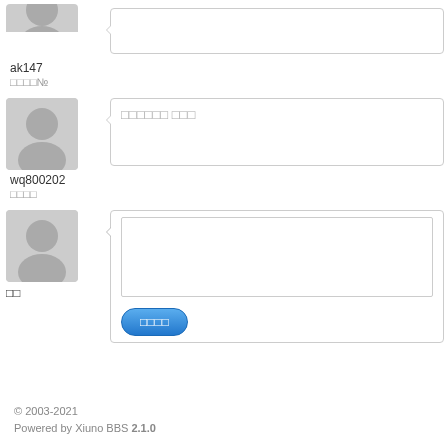[Figure (screenshot): Forum/BBS page showing user comment section with avatars, usernames, speech bubbles, a comment input area with submit button, and a footer.]
ak147
□□□□№
wq800202
□□□□
□□□□□□ □□□
□□□
□□□□
© 2003-2021
Powered by Xiuno BBS 2.1.0